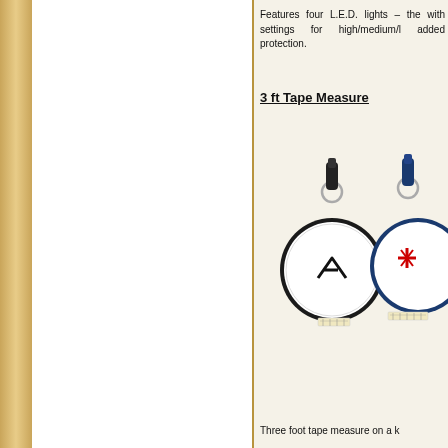Features four L.E.D. lights – the with settings for high/medium/l added protection.
3 ft Tape Measure
[Figure (photo): Two circular keychain tape measures, one with black trim and one with blue trim, both white with logos on the face, with a tape partially extended from one.]
Three foot tape measure on a k